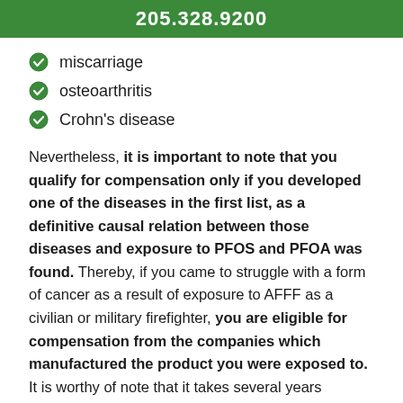205.328.9200
miscarriage
osteoarthritis
Crohn's disease
Nevertheless, it is important to note that you qualify for compensation only if you developed one of the diseases in the first list, as a definitive causal relation between those diseases and exposure to PFOS and PFOA was found. Thereby, if you came to struggle with a form of cancer as a result of exposure to AFFF as a civilian or military firefighter, you are eligible for compensation from the companies which manufactured the product you were exposed to. It is worthy of note that it takes several years